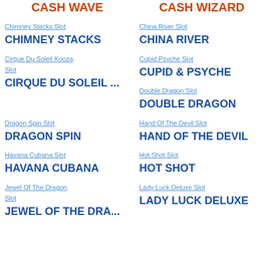CASH WAVE
CASH WIZARD
Chimney Stacks Slot — CHIMNEY STACKS
China River Slot — CHINA RIVER
Cirque Du Soleil Kooza Slot — CIRQUE DU SOLEIL ...
Cupid Psyche Slot — CUPID & PSYCHE
Double Dragon Slot — DOUBLE DRAGON
Dragon Spin Slot — DRAGON SPIN
Hand Of The Devil Slot — HAND OF THE DEVIL
Havana Cubana Slot — HAVANA CUBANA
Hot Shot Slot — HOT SHOT
Jewel Of The Dragon Slot — JEWEL OF THE DRA...
Lady Luck Deluxe Slot — LADY LUCK DELUXE